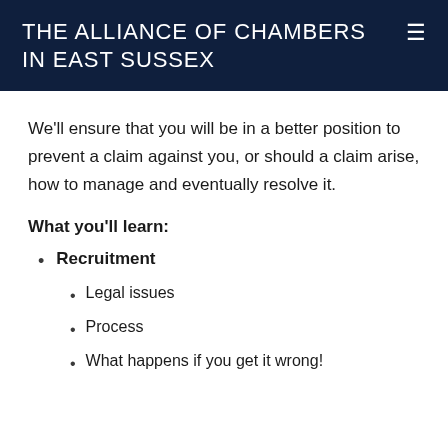THE ALLIANCE OF CHAMBERS IN EAST SUSSEX
We'll ensure that you will be in a better position to prevent a claim against you, or should a claim arise, how to manage and eventually resolve it.
What you'll learn:
Recruitment
Legal issues
Process
What happens if you get it wrong!